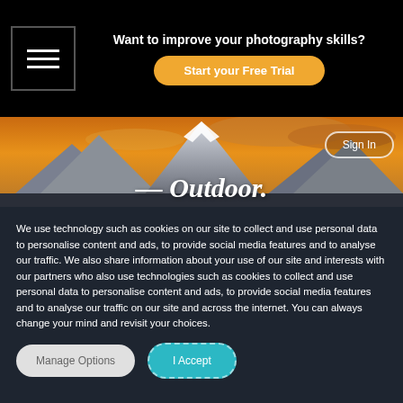Want to improve your photography skills? Start your Free Trial
[Figure (screenshot): Mountain landscape hero image with orange/golden sky and snow-capped peaks, showing 'Outdoor.' text overlay and Sign In button]
We use technology such as cookies on our site to collect and use personal data to personalise content and ads, to provide social media features and to analyse our traffic. We also share information about your use of our site and interests with our partners who also use technologies such as cookies to collect and use personal data to personalise content and ads, to provide social media features and to analyse our traffic on our site and across the internet. You can always change your mind and revisit your choices.
Manage Options
I Accept